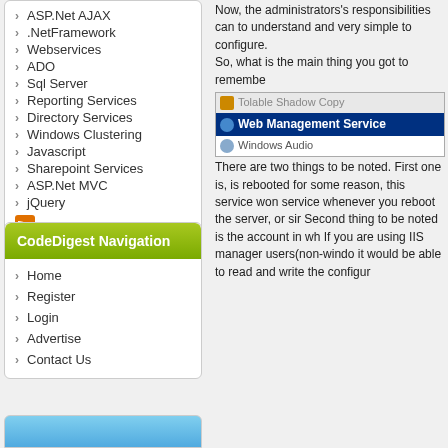ASP.Net AJAX
.NetFramework
Webservices
ADO
Sql Server
Reporting Services
Directory Services
Windows Clustering
Javascript
Sharepoint Services
ASP.Net MVC
jQuery
Now, the administrators's responsibilities can to understand and very simple to configure. So, what is the main thing you got to remembe
[Figure (screenshot): Windows Services list showing 'Web Management Service' highlighted in blue, with rows above and below]
There are two things to be noted. First one is, is rebooted for some reason, this service won service whenever you reboot the server, or sir Second thing to be noted is the account in wh If you are using IIS manager users(non-windo it would be able to read and write the configur
CodeDigest Navigation
Home
Register
Login
Advertise
Contact Us